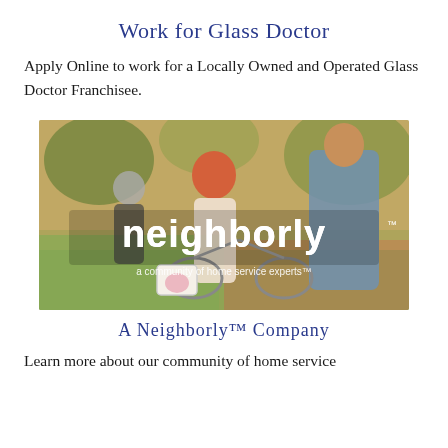Work for Glass Doctor
Apply Online to work for a Locally Owned and Operated Glass Doctor Franchisee.
[Figure (photo): Photo of an adult helping a child ride a bicycle in a park, with the Neighborly logo and tagline 'a community of home service experts' overlaid on the image.]
A Neighborly™ Company
Learn more about our community of home service